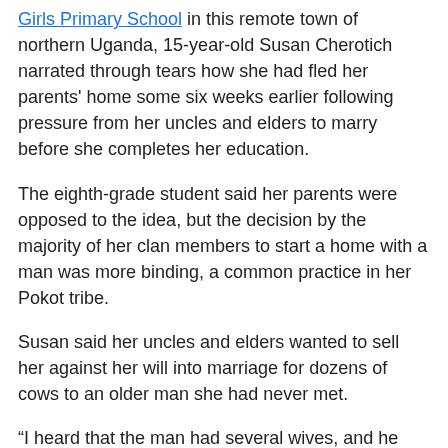Girls Primary School in this remote town of northern Uganda, 15-year-old Susan Cherotich narrated through tears how she had fled her parents' home some six weeks earlier following pressure from her uncles and elders to marry before she completes her education.
The eighth-grade student said her parents were opposed to the idea, but the decision by the majority of her clan members to start a home with a man was more binding, a common practice in her Pokot tribe.
Susan said her uncles and elders wanted to sell her against her will into marriage for dozens of cows to an older man she had never met.
“I heard that the man had several wives, and he was willing to give out many cows,” she said.
“I left at night after realizing they were coming to marry me off.”